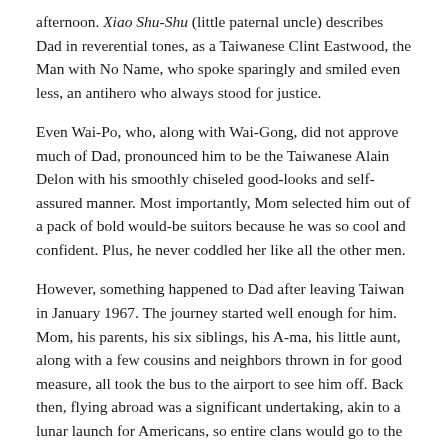afternoon. Xiao Shu-Shu (little paternal uncle) describes Dad in reverential tones, as a Taiwanese Clint Eastwood, the Man with No Name, who spoke sparingly and smiled even less, an antihero who always stood for justice.
Even Wai-Po, who, along with Wai-Gong, did not approve much of Dad, pronounced him to be the Taiwanese Alain Delon with his smoothly chiseled good-looks and self-assured manner. Most importantly, Mom selected him out of a pack of bold would-be suitors because he was so cool and confident. Plus, he never coddled her like all the other men.
However, something happened to Dad after leaving Taiwan in January 1967. The journey started well enough for him. Mom, his parents, his six siblings, his A-ma, his little aunt, along with a few cousins and neighbors thrown in for good measure, all took the bus to the airport to see him off. Back then, flying abroad was a significant undertaking, akin to a lunar launch for Americans, so entire clans would go to the airport to send off their sons or the occasional daughter. Mom accompanied him to the airplane's boarding stairs, and his Er Ge (second elder brother, my Er Bo), the photographer of the family,